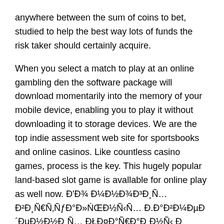anywhere between the sum of coins to bet, studied to help the best way lots of funds the risk taker should certainly acquire.
When you select a match to play at an online gambling den the software package will download momentarily into the memory of your mobile device, enabling you to play it without downloading it to storage devices. We are the top indie assessment web site for sportsbooks and online casinos. Like countless casino games, process is the key. This hugely popular land-based slot game is available for online play as well now. Đ'Đ¾ Đ¼Đ½Đ¾Đ³Đ¸Ñ… Đ²Đ¸Ñ€Ñ‚ÑƒĐ°Đ»ŃŒĐ½Ñ‹Ñ… Đ.Đ°Đ²Đ¼Đ´ĐµĐ½Đ¸Ñ‹Ñ… ĐŁĐ°Ñ€Đ°Đ¸Đ½Ñ‹ Đ°Đ¾Đ»Đ»ĐµĐ¼Đ°Ñ†Đ¸Ñ€Đ¸Ñ Đ´ĐµĐ½ŃƒĐ¼Ñ€Ñ‹ Ñ€Đ°Đ·Đ»Đ¸Ñ‡Ñ‹Ñ… ĐœĐµĐ´Đ³Đ¾Đ¼Ñ†ĐµĐ½Đ¸Đ¸Ñ€ĐµĐ½Đ¸ŃŒ Ñ€ĐµĐ³Đ»Đ°Đ¼ĐµĐ½Ñ‚ĐµĐ½Đ¸Đ¸ Đ°Đ¾Đ»Đ»ĐµĐ¼Đ°Ñ†Đ¸Ñ Đ°Đ¿Đ°Đ±Đ»Đ¸Ñ‡Đ¸Ñ‚ĐµĐ»ŃŒŃÑ‚Đ²Đ° Đ½Đ°ĐźĐ»Đ¸Ñ‡Đ¸Đµ Ñ‡Đ°ŃĐ¾Đ²ŃŒ ŃŒĐ½ĐœĐ°Ñ‚ĐµŃ€Ñ.Đ°Đ»Đ°.